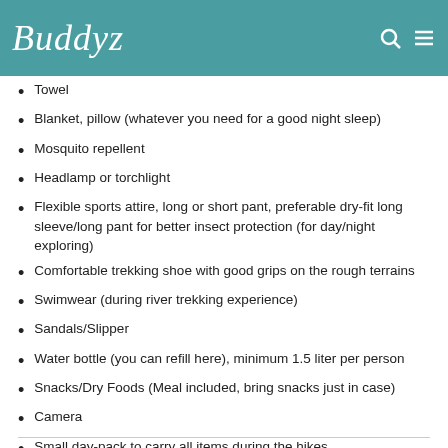Buddyz
Towel
Blanket, pillow (whatever you need for a good night sleep)
Mosquito repellent
Headlamp or torchlight
Flexible sports attire, long or short pant, preferable dry-fit long sleeve/long pant for better insect protection (for day/night exploring)
Comfortable trekking shoe with good grips on the rough terrains
Swimwear (during river trekking experience)
Sandals/Slipper
Water bottle (you can refill here), minimum 1.5 liter per person
Snacks/Dry Foods (Meal included, bring snacks just in case)
Camera
Small day-pack to carry all items during the hikes